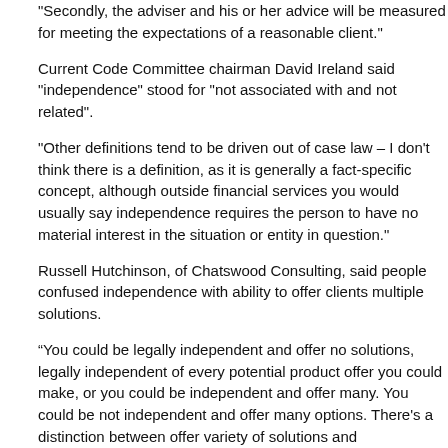"Secondly, the adviser and his or her advice will be measured for meeting the expectations of a reasonable client."
Current Code Committee chairman David Ireland said "independence" stood for "not associated with and not related".
"Other definitions tend to be driven out of case law – I don't think there is a definition, as it is generally a fact-specific concept, although outside financial services you would usually say independence requires the person to have no material interest in the situation or entity in question."
Russell Hutchinson, of Chatswood Consulting, said people confused independence with ability to offer clients multiple solutions.
“You could be legally independent and offer no solutions, legally independent of every potential product offer you could make, or you could be independent and offer many. You could be not independent and offer many options. There's a distinction between offer variety of solutions and independence."
Code working group chairman Angus Dale-Jones said it was something to work through as part of the process of developing the new adviser code.
“I’m pleased there is debate about it because it’s a very important question and we need to go through the process of considering it in the proper environment for substantive discussion."